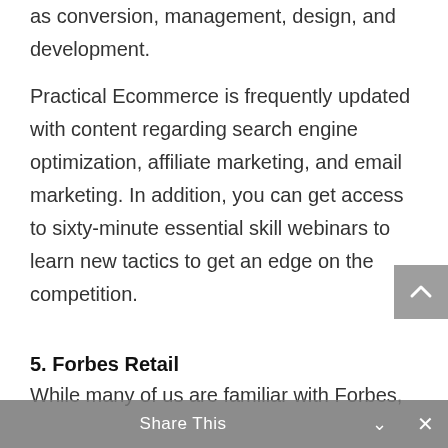as conversion, management, design, and development.
Practical Ecommerce is frequently updated with content regarding search engine optimization, affiliate marketing, and email marketing. In addition, you can get access to sixty-minute essential skill webinars to learn new tactics to get an edge on the competition.
5. Forbes Retail
While many of us are familiar with Forbes, the retail section is easily overlooked.
Granted, as our in-house experts point out, the browsing experience isn't great due to the number
Share This